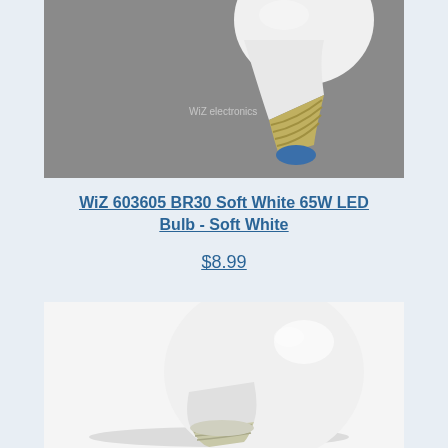[Figure (photo): Close-up photo of a BR30 LED light bulb base/socket against a gray background, showing the metal E26 screw base and part of the white bulb body with a watermark]
WiZ 603605 BR30 Soft White 65W LED Bulb - Soft White
$8.99
[Figure (photo): Photo of a white A19 LED light bulb lying on its side on a white surface, showing the full bulb shape with frosted white globe and silver E26 screw base]